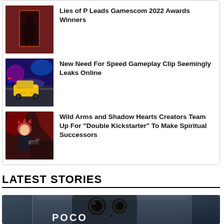[Figure (photo): Thumbnail of a dark-robed character standing in a red-lit doorway, from Lies of P]
Lies of P Leads Gamescom 2022 Awards Winners
[Figure (photo): Thumbnail of colorful Need for Speed racing scene with a yellow car and police lights]
New Need For Speed Gameplay Clip Seemingly Leaks Online
[Figure (photo): Thumbnail of anime-style character with red hair holding a gun, from Wild Arms / Shadow Hearts]
Wild Arms and Shadow Hearts Creators Team Up For “Double Kickstarter” To Make Spiritual Successors
LATEST STORIES
[Figure (photo): Close-up photo of a POCO branded smartphone, shot in moody blue-gray lighting showing the camera module]